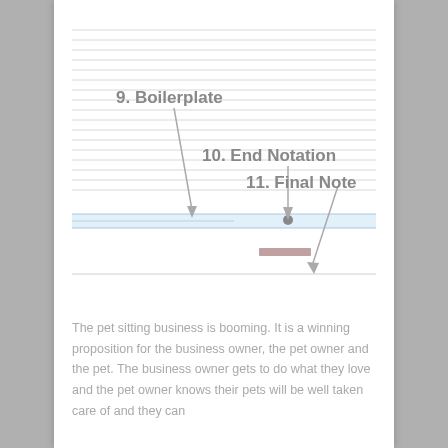[Figure (infographic): Document structure diagram showing three labeled sections with arrows: '9. Boilerplate' (top-left, arrow pointing down-right to a highlighted row), '10. End Notation' (center, arrow pointing down to a dot on a highlighted row), and '11. Final Note' (top-right, arrow pointing down-left to another area). Multiple horizontal lines represent document rows with highlighted bands.]
The pet sitting business is booming. It is a winning proposition for the business owner, the pet owner and the pet. The business owner gets to do what they love and the pet owner knows their pets will be well taken care of and they can